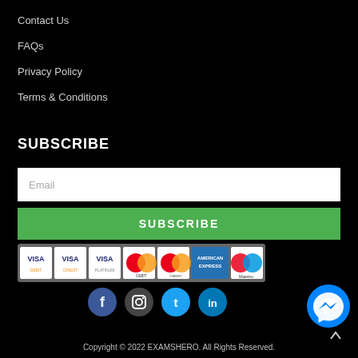Contact Us
FAQs
Privacy Policy
Terms & Conditions
SUBSCRIBE
Email
SUBSCRIBE
[Figure (other): Payment method icons: VISA Debit, VISA Credit, VISA Platinum, MasterCard Debit, MasterCard Credit, American Express, Maestro]
[Figure (other): Social media icons: Facebook, Instagram, Twitter, LinkedIn, Messenger]
Copyright © 2022 EXAMSHERO. All Rights Reserved.